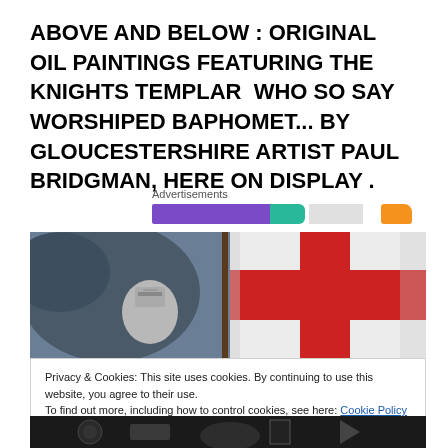ABOVE AND BELOW : ORIGINAL OIL PAINTINGS FEATURING THE KNIGHTS TEMPLAR  WHO SO SAY WORSHIPED BAPHOMET... BY GLOUCESTERSHIRE ARTIST PAUL BRIDGMAN, HERE ON DISPLAY .
Advertisements
[Figure (photo): Partial view of an oil painting showing a knight with a white flag bearing a red cross (St George cross), against a cloudy blue-gray background]
Privacy & Cookies: This site uses cookies. By continuing to use this website, you agree to their use.
To find out more, including how to control cookies, see here: Cookie Policy
Close and accept
[Figure (photo): Bottom strip showing part of another painting with dark tones]